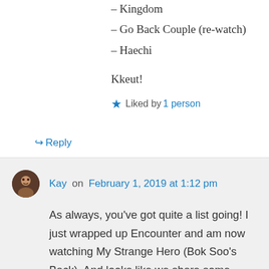– Kingdom
– Go Back Couple (re-watch)
– Haechi
Kkeut!
★ Liked by 1 person
↪ Reply
Kay on February 1, 2019 at 1:12 pm
As always, you've got quite a list going! I just wrapped up Encounter and am now watching My Strange Hero (Bok Soo's Back). And looks like we share some upcoming dramas too. Definitely going to check out The Last Empress, Haechi, and